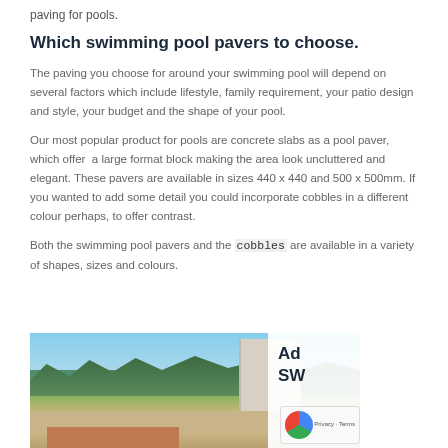paving for pools.
Which swimming pool pavers to choose.
The paving you choose for around your swimming pool will depend on several factors which include lifestyle, family requirement, your patio design and style, your budget and the shape of your pool.
Our most popular product for pools are concrete slabs as a pool paver, which offer a large format block making the area look uncluttered and elegant. These pavers are available in sizes 440 x 440 and 500 x 500mm. If you wanted to add some detail you could incorporate cobbles in a different colour perhaps, to offer contrast.
Both the swimming pool pavers and the cobbles are available in a variety of shapes, sizes and colours.
[Figure (photo): Outdoor swimming pool area with white structural pillar, trees, and brick wall visible in an outdoor setting]